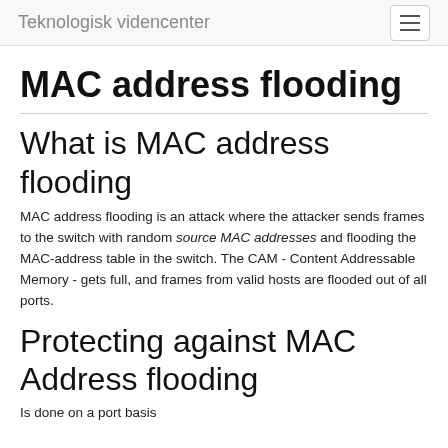Teknologisk videncenter
MAC address flooding
What is MAC address flooding
MAC address flooding is an attack where the attacker sends frames to the switch with random source MAC addresses and flooding the MAC-address table in the switch. The CAM - Content Addressable Memory - gets full, and frames from valid hosts are flooded out of all ports.
Protecting against MAC Address flooding
Is done on a port basis